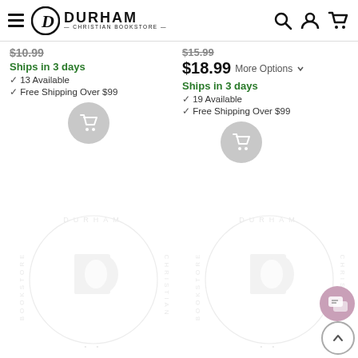Durham Christian Bookstore
$10.99 Ships in 3 days ✓ 13 Available ✓ Free Shipping Over $99
$15.99 $18.99 More Options Ships in 3 days ✓ 19 Available ✓ Free Shipping Over $99
[Figure (illustration): Two Durham Christian Bookstore watermark logos side by side]
[Figure (illustration): Chat bubble icon button]
[Figure (illustration): Back to top arrow button]